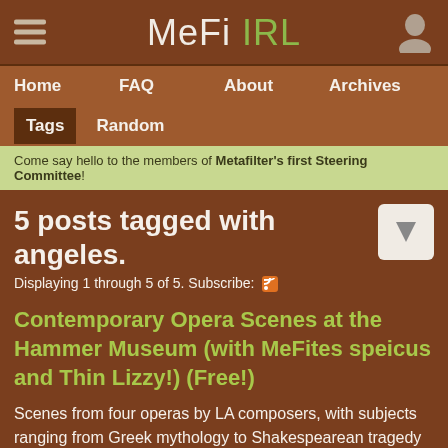MeFi IRL
Home  FAQ  About  Archives  Tags  Random
Come say hello to the members of Metafilter's first Steering Committee!
5 posts tagged with angeles.
Displaying 1 through 5 of 5. Subscribe:
Contemporary Opera Scenes at the Hammer Museum (with MeFites speicus and Thin Lizzy!) (Free!)
Scenes from four operas by LA composers, with subjects ranging from Greek mythology to Shakespearean tragedy to Creole legend to American scientific history. [more inside]
posted by mandymanwasregistered on Nov 13, 2012 - 3 comments